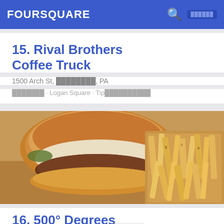FOURSQUARE
15. Rival Brothers Coffee Truck
1500 Arch St, ░░░░░░░░, PA
░░░░░░░ · Logan Square · Tip░░░░░░░░░░
[Figure (photo): Food photo of a cheeseburger with melted white cheese and a side of thick-cut french fries, warm toned vintage-style photo]
16. 500° Degrees
124 S 15th St (at Sansom St.), ░░░░░░░░, PA
░░░░░░░░░░░ · Center City West · 77░░░░░░░░░░